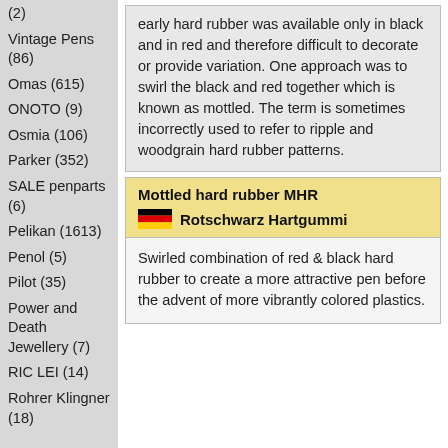(2)
Vintage Pens (86)
Omas (615)
ONOTO (9)
Osmia (106)
Parker (352)
SALE penparts (6)
Pelikan (1613)
Penol (5)
Pilot (35)
Power and Death Jewellery (7)
RIC LEI (14)
Rohrer Klingner (18)
early hard rubber was available only in black and in red and therefore difficult to decorate or provide variation. One approach was to swirl the black and red together which is known as mottled. The term is sometimes incorrectly used to refer to ripple and woodgrain hard rubber patterns.
Mottled hard rubber MHR
Rotschwarz Hartgummi
Swirled combination of red & black hard rubber to create a more attractive pen before the advent of more vibrantly colored plastics.